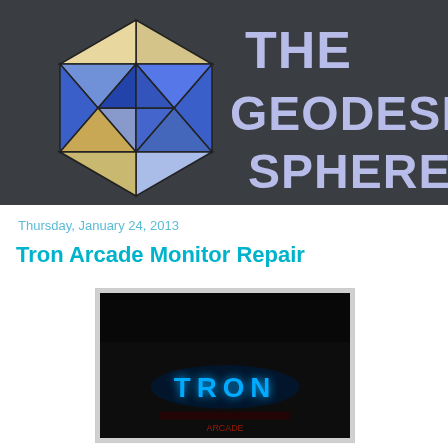[Figure (logo): The Geodesic Sphere logo: a hexagonal geometric shape made of blue, light blue, cream/tan triangular facets on dark gray background, with the text 'THE GEODESIC SPHERE' in large light lavender/white letters to the right]
Thursday, January 24, 2013
Tron Arcade Monitor Repair
[Figure (photo): Dark photograph showing a Tron arcade machine with glowing blue TRON logo text visible in the darkness]